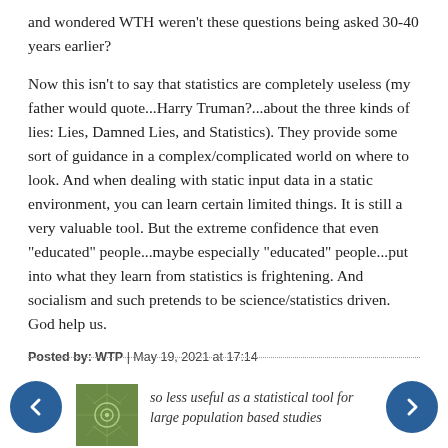and wondered WTH weren't these questions being asked 30-40 years earlier?
Now this isn't to say that statistics are completely useless (my father would quote...Harry Truman?...about the three kinds of lies: Lies, Damned Lies, and Statistics). They provide some sort of guidance in a complex/complicated world on where to look. And when dealing with static input data in a static environment, you can learn certain limited things. It is still a very valuable tool. But the extreme confidence that even "educated" people...maybe especially "educated" people...put into what they learn from statistics is frightening. And socialism and such pretends to be science/statistics driven. God help us.
Posted by: WTP | May 19, 2021 at 17:14
so less useful as a statistical tool for large population based studies